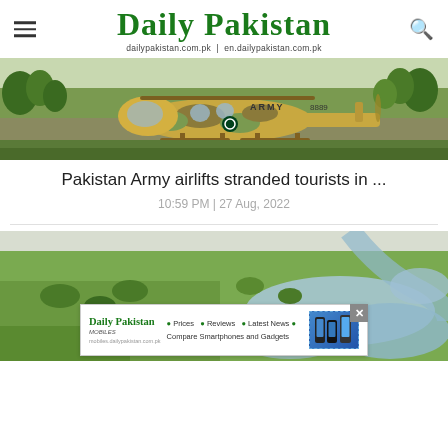Daily Pakistan — dailypakistan.com.pk | en.dailypakistan.com.pk
[Figure (photo): Pakistan Army helicopter (camouflage brown/green colors, marked 'ARMY') parked on ground with vegetation in background]
Pakistan Army airlifts stranded tourists in ...
10:59 PM | 27 Aug, 2022
[Figure (photo): Aerial view of flooded landscape in Pakistan showing green fields, flooded areas, and a cluster of buildings/village surrounded by floodwater]
[Figure (other): Daily Pakistan Mobiles advertisement banner with logo, features list (Prices, Reviews, Latest News, Compare Smartphones and Gadgets) and phone images]